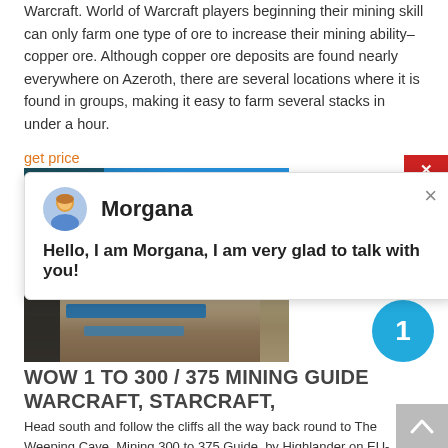Warcraft. World of Warcraft players beginning their mining skill can only farm one type of ore to increase their mining ability–copper ore. Although copper ore deposits are found nearly everywhere on Azeroth, there are several locations where it is found in groups, making it easy to farm several stacks in under a hour.
get price
[Figure (photo): Photo with blue sky and palm tree foliage at top]
[Figure (screenshot): Chat popup with avatar of Morgana, name 'Morgana', and message 'Hello, I am Morgana, I am very glad to talk with you!']
[Figure (photo): Industrial/mining site photo with blue pipes and dark rocks]
WOW 1 TO 300 / 375 MINING GUIDE WARCRAFT, STARCRAFT,
Head south and follow the cliffs all the way back round to The Weeping Cave. Mining 300 to 375 Guide, by Highlander on EU-